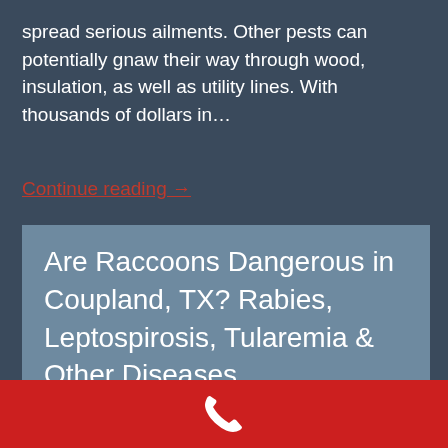spread serious ailments. Other pests can potentially gnaw their way through wood, insulation, as well as utility lines. With thousands of dollars in…
Continue reading →
Are Raccoons Dangerous in Coupland, TX? Rabies, Leptospirosis, Tularemia & Other Diseases
[Figure (other): Red bar with a white telephone handset icon centered within it]